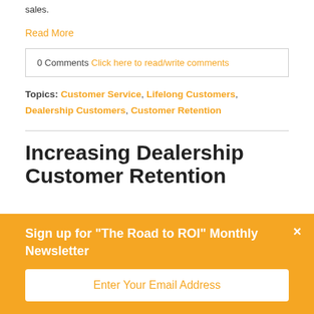sales.
Read More
0 Comments Click here to read/write comments
Topics: Customer Service, Lifelong Customers, Dealership Customers, Customer Retention
Increasing Dealership Customer Retention
Sign up for "The Road to ROI" Monthly Newsletter
Enter Your Email Address